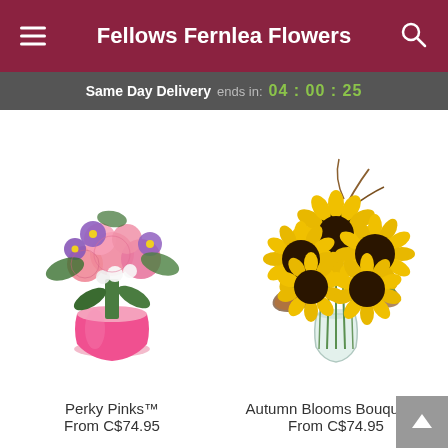Fellows Fernlea Flowers
Same Day Delivery ends in: 04 : 00 : 25
[Figure (photo): Perky Pinks bouquet in a pink vase with pink carnations, purple asters, and white flowers]
Perky Pinks™
From C$74.95
[Figure (photo): Autumn Blooms Bouquet with large yellow sunflowers in a glass vase with autumn foliage]
Autumn Blooms Bouquet™
From C$74.95